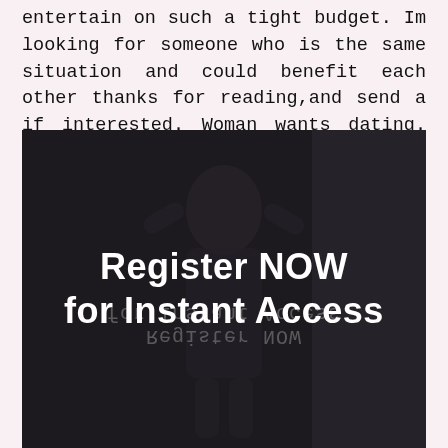entertain on such a tight budget. Im looking for someone who is the same situation and could benefit each other thanks for reading,and send a if interested. Woman wants dating. Quick Browse.
[Figure (photo): Dark photo of a person with overlay text reading 'Register NOW for Instant Access' with a mirrored reflection of the text visible beneath.]